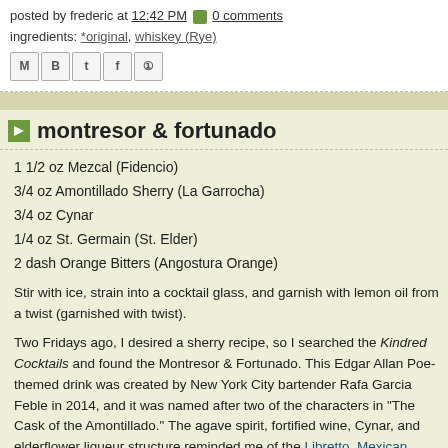posted by frederic at 12:42 PM  0 comments
ingredients: *original, whiskey (Rye)
[Figure (other): Social sharing icons: Gmail (M), Blogger (B), Twitter (t), Facebook (f), Pinterest (P)]
montresor & fortunado
1 1/2 oz Mezcal (Fidencio)
3/4 oz Amontillado Sherry (La Garrocha)
3/4 oz Cynar
1/4 oz St. Germain (St. Elder)
2 dash Orange Bitters (Angostura Orange)
Stir with ice, strain into a cocktail glass, and garnish with lemon oil from a twist (garnished with twist).
Two Fridays ago, I desired a sherry recipe, so I searched the Kindred Cocktails and found the Montresor & Fortunado. This Edgar Allan Poe-themed drink was created by New York City bartender Rafa Garcia Feble in 2014, and it was named after two of the characters in "The Cask of the Amontillado." The agave spirit, fortified wine, Cynar, and elderflower liqueur structure reminded me of the Libretto, Mexican Turnover, and Nina Brava, so I was definitely intrigued by this libation. Moreover, the concept